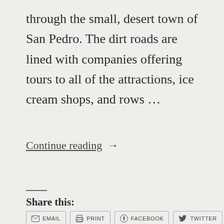through the small, desert town of San Pedro. The dirt roads are lined with companies offering tours to all of the attractions, ice cream shops, and rows ...
Continue reading →
Share this:
EMAIL  PRINT  FACEBOOK  TWITTER  MORE